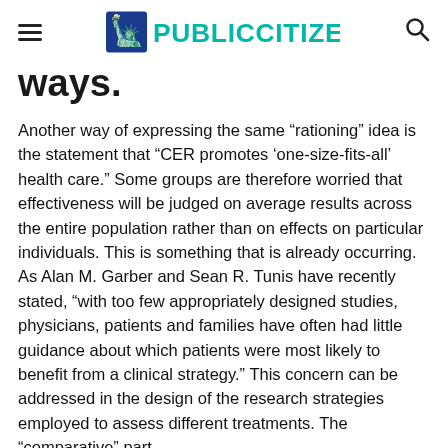PUBLIC CITIZEN
ways.
Another way of expressing the same “rationing” idea is the statement that “CER promotes ‘one-size-fits-all’ health care.” Some groups are therefore worried that effectiveness will be judged on average results across the entire population rather than on effects on particular individuals. This is something that is already occurring. As Alan M. Garber and Sean R. Tunis have recently stated, “with too few appropriately designed studies, physicians, patients and families have often had little guidance about which patients were most likely to benefit from a clinical strategy.” This concern can be addressed in the design of the research strategies employed to assess different treatments. The “comparative” part of the comparative health care reform strategy...